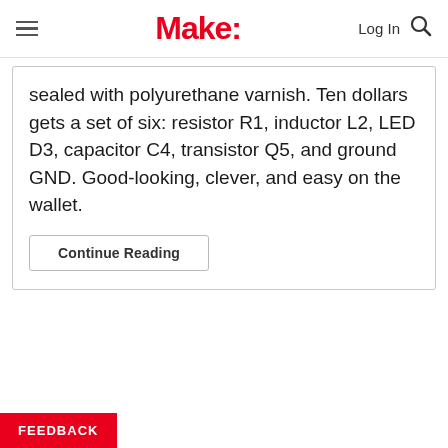Make:
sealed with polyurethane varnish. Ten dollars gets a set of six: resistor R1, inductor L2, LED D3, capacitor C4, transistor Q5, and ground GND. Good-looking, clever, and easy on the wallet.
Continue Reading
FEEDBACK